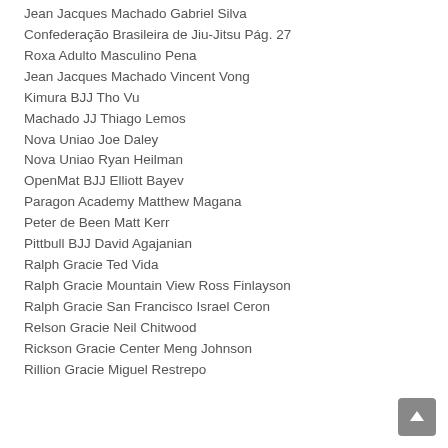Jean Jacques Machado Gabriel Silva
Confederação Brasileira de Jiu-Jitsu Pág. 27
Roxa Adulto Masculino Pena
Jean Jacques Machado Vincent Vong
Kimura BJJ Tho Vu
Machado JJ Thiago Lemos
Nova Uniao Joe Daley
Nova Uniao Ryan Heilman
OpenMat BJJ Elliott Bayev
Paragon Academy Matthew Magana
Peter de Been Matt Kerr
Pittbull BJJ David Agajanian
Ralph Gracie Ted Vida
Ralph Gracie Mountain View Ross Finlayson
Ralph Gracie San Francisco Israel Ceron
Relson Gracie Neil Chitwood
Rickson Gracie Center Meng Johnson
Rillion Gracie Miguel Restrepo